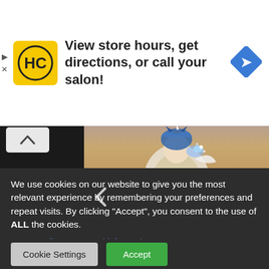[Figure (screenshot): Advertisement banner for HC (Hair Club) salon showing logo and text 'View store hours, get directions, or call your salon!' with navigation arrow icon]
[Figure (screenshot): Mobile game screenshot showing a fantasy female character with blue hair, white and gold armor, blue glowing weapon, with browse arrows]
We use cookies on our website to give you the most relevant experience by remembering your preferences and repeat visits. By clicking “Accept”, you consent to the use of ALL the cookies.
Do not sell my personal information.
Cookie Settings
Accept